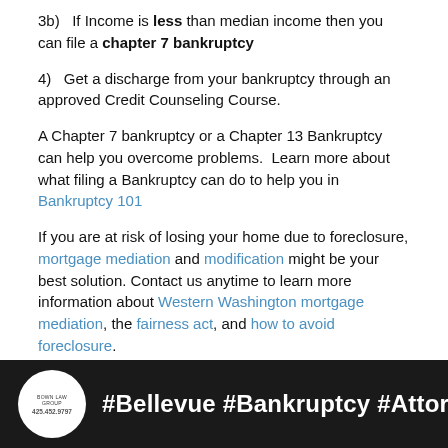3b)   If Income is less than median income then you can file a chapter 7 bankruptcy
4)   Get a discharge from your bankruptcy through an approved Credit Counseling Course.
A Chapter 7 bankruptcy or a Chapter 13 Bankruptcy can help you overcome problems.  Learn more about what filing a Bankruptcy can do to help you in Bankruptcy 101
If you are at risk of losing your home due to foreclosure, mortgage mediation and modification might be your best solution. Contact us anytime to learn more information about Western Washington mortgage mediation, the fairness act, and how to avoid foreclosure.
Related: What if I Can't Make My Mortgage Payment?
[Figure (screenshot): Dark banner showing a logo circle with law firm branding and phone number 425.452.9797, followed by hashtag text: #Bellevue #Bankruptcy #Attorney #Seattle Ba...]